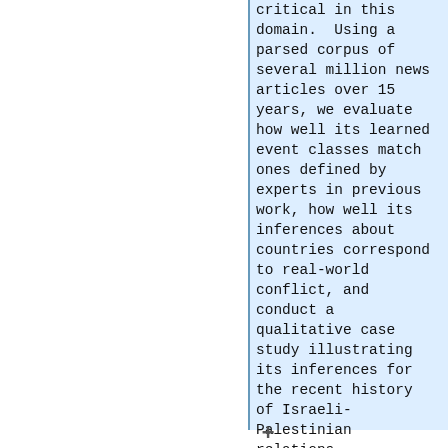critical in this domain.  Using a parsed corpus of several million news articles over 15 years, we evaluate how well its learned event classes match ones defined by experts in previous work, how well its inferences about countries correspond to real-world conflict, and conduct a qualitative case study illustrating its inferences for the recent history of Israeli-Palestinian relations.